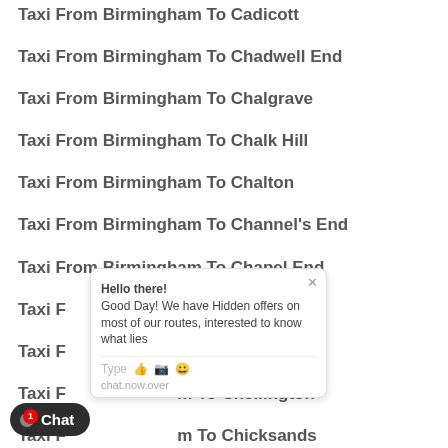Taxi From Birmingham To Cadicott
Taxi From Birmingham To Chadwell End
Taxi From Birmingham To Chalgrave
Taxi From Birmingham To Chalk Hill
Taxi From Birmingham To Chalton
Taxi From Birmingham To Channel's End
Taxi From Birmingham To Chapel End
Taxi From Birmingham To Chaul End
Taxi From Birmingham To Chawston
Taxi From Birmingham To Chellington
Taxi From Birmingham To Chicksands
Taxi From Birmingham To Chiltern Green